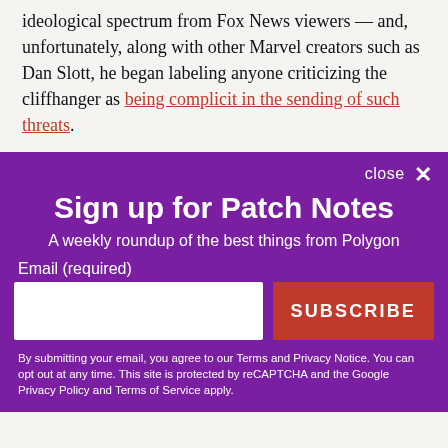ideological spectrum from Fox News viewers — and, unfortunately, along with other Marvel creators such as Dan Slott, he began labeling anyone criticizing the cliffhanger as being complicit in the sending of such threats.
close ✕
Sign up for Patch Notes
A weekly roundup of the best things from Polygon
Email (required)
SUBSCRIBE
By submitting your email, you agree to our Terms and Privacy Notice. You can opt out at any time. This site is protected by reCAPTCHA and the Google Privacy Policy and Terms of Service apply.